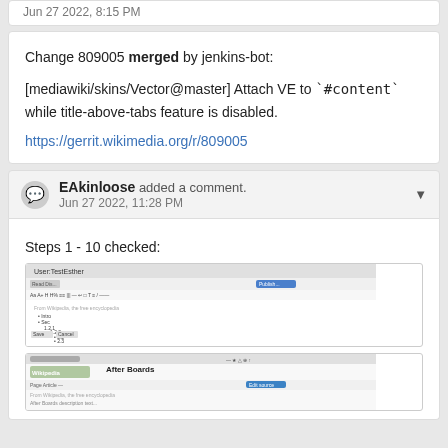Jun 27 2022, 8:15 PM
Change 809005 merged by jenkins-bot:

[mediawiki/skins/Vector@master] Attach VE to `#content` while title-above-tabs feature is disabled.

https://gerrit.wikimedia.org/r/809005
EAkinloose added a comment.
Jun 27 2022, 11:28 PM
Steps 1 - 10 checked:
[Figure (screenshot): Screenshot of a Wikipedia page editor showing User:TestEsther with visual editor toolbar and outline content]
[Figure (screenshot): Screenshot of a Wikipedia page showing After Boards article with editing toolbar]